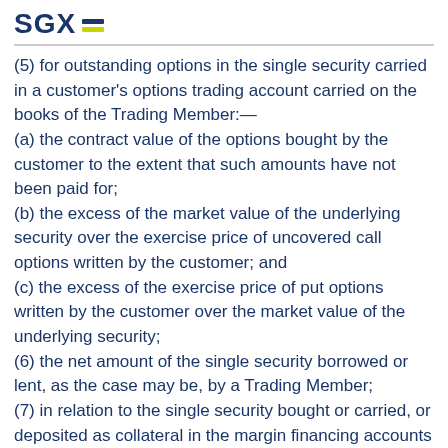SGX
(5) for outstanding options in the single security carried in a customer's options trading account carried on the books of the Trading Member:—
(a) the contract value of the options bought by the customer to the extent that such amounts have not been paid for;
(b) the excess of the market value of the underlying security over the exercise price of uncovered call options written by the customer; and
(c) the excess of the exercise price of put options written by the customer over the market value of the underlying security;
(6) the net amount of the single security borrowed or lent, as the case may be, by a Trading Member;
(7) in relation to the single security bought or carried, or deposited as collateral in the margin financing accounts carried on the books of the Trading Member, the margin exposure of a Trading Member to the single security as determined in accordance with the margin financing